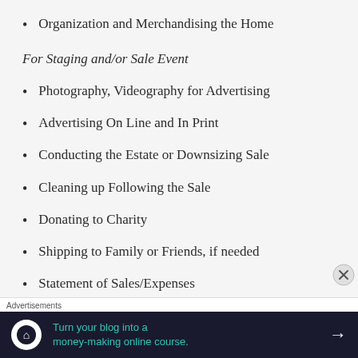Organization and Merchandising the Home
For Staging and/or Sale Event
Photography, Videography for Advertising
Advertising On Line and In Print
Conducting the Estate or Downsizing Sale
Cleaning up Following the Sale
Donating to Charity
Shipping to Family or Friends, if needed
Statement of Sales/Expenses
[Figure (infographic): Advertisement banner: 'Turn your blog into a money-making online course.' with arrow icon on dark navy background, teal text, and Teachable logo icon.]